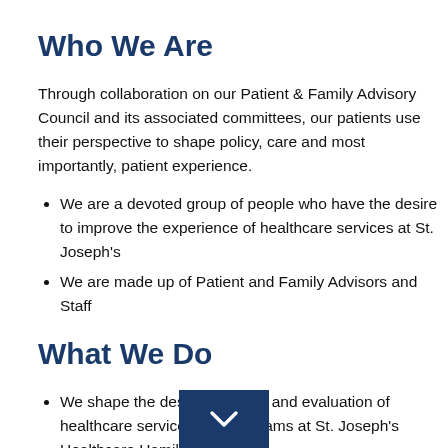Who We Are
Through collaboration on our Patient & Family Advisory Council and its associated committees, our patients use their perspective to shape policy, care and most importantly, patient experience.
We are a devoted group of people who have the desire to improve the experience of healthcare services at St. Joseph's
We are made up of Patient and Family Advisors and Staff
What We Do
We shape the design, delivery and evaluation of healthcare services and programs at St. Joseph's Healthcare Hamilton.
Ultimately, we aim improve St. Joseph's by sharing the unique perspective of a patient or family member.